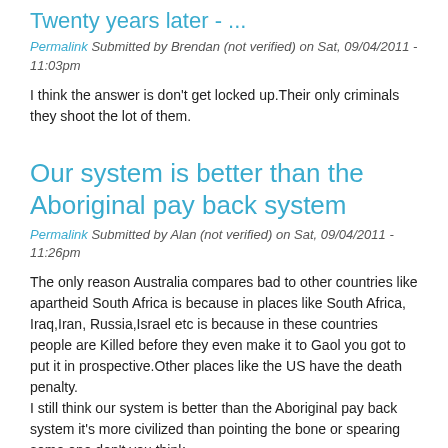Twenty years later - ...
Permalink Submitted by Brendan (not verified) on Sat, 09/04/2011 - 11:03pm
I think the answer is don't get locked up.Their only criminals they shoot the lot of them.
Our system is better than the Aboriginal pay back system
Permalink Submitted by Alan (not verified) on Sat, 09/04/2011 - 11:26pm
The only reason Australia compares bad to other countries like apartheid South Africa is because in places like South Africa, Iraq,Iran, Russia,Israel etc is because in these countries people are Killed before they even make it to Gaol you got to put it in prospective.Other places like the US have the death penalty.
I still think our system is better than the Aboriginal pay back system it's more civilized than pointing the bone or spearing some one don't you think.